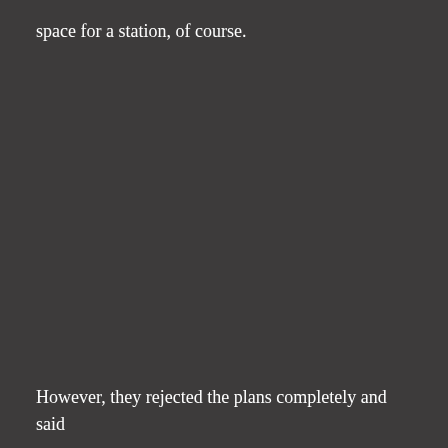space for a station, of course.
However, they rejected the plans completely and said